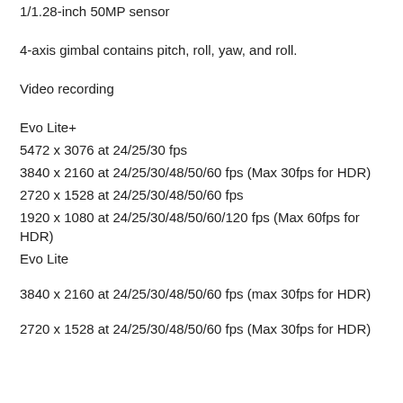1/1.28-inch 50MP sensor
4-axis gimbal contains pitch, roll, yaw, and roll.
Video recording
Evo Lite+
5472 x 3076 at 24/25/30 fps
3840 x 2160 at 24/25/30/48/50/60 fps (Max 30fps for HDR)
2720 x 1528 at 24/25/30/48/50/60 fps
1920 x 1080 at 24/25/30/48/50/60/120 fps (Max 60fps for HDR)
Evo Lite
3840 x 2160 at 24/25/30/48/50/60 fps (max 30fps for HDR)
2720 x 1528 at 24/25/30/48/50/60 fps (Max 30fps for HDR)